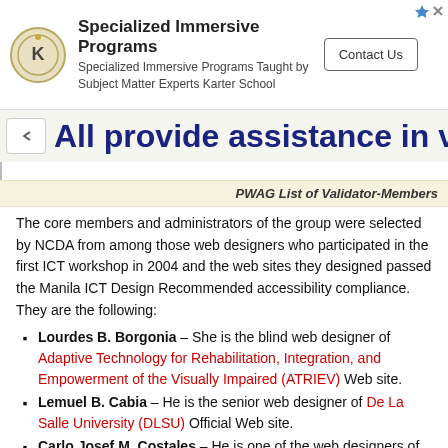[Figure (other): Advertisement banner for Karter School Specialized Immersive Programs with logo, text, and Contact Us button]
All provide assistance in volu
PWAG List of Validator-Members
The core members and administrators of the group were selected by NCDA from among those web designers who participated in the first ICT workshop in 2004 and the web sites they designed passed the Manila ICT Design Recommended accessibility compliance. They are the following:
Lourdes B. Borgonia – She is the blind web designer of Adaptive Technology for Rehabilitation, Integration, and Empowerment of the Visually Impaired (ATRIEV) Web site.
Lemuel B. Cabia – He is the senior web designer of De La Salle University (DLSU) Official Web site.
Carlo Josef M. Costales – He is one of the web designers of the